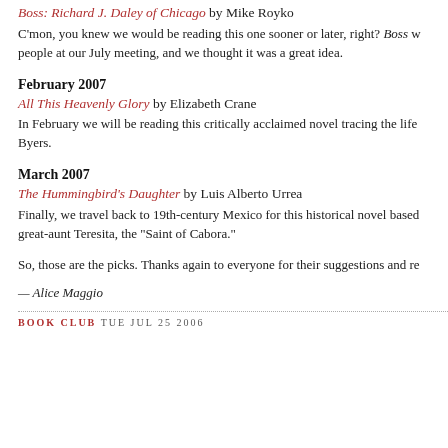Boss: Richard J. Daley of Chicago by Mike Royko
C'mon, you knew we would be reading this one sooner or later, right? Boss w... people at our July meeting, and we thought it was a great idea.
February 2007
All This Heavenly Glory by Elizabeth Crane
In February we will be reading this critically acclaimed novel tracing the life Byers.
March 2007
The Hummingbird's Daughter by Luis Alberto Urrea
Finally, we travel back to 19th-century Mexico for this historical novel based great-aunt Teresita, the "Saint of Cabora."
So, those are the picks. Thanks again to everyone for their suggestions and re...
— Alice Maggio
BOOK CLUB TUE JUL 25 2006